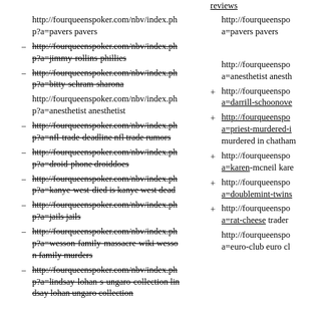http://fourqueenspoker.com/nbv/index.php?a=pavers pavers
- http://fourqueenspoker.com/nbv/index.php?a=jimmy-rollins-phillies (strikethrough)
- http://fourqueenspoker.com/nbv/index.php?a=bitty-schram-sharona (strikethrough)
http://fourqueenspoker.com/nbv/index.php?a=anesthetist anesthetist
- http://fourqueenspoker.com/nbv/index.php?a=nfl-trade-deadline nfl trade rumors (strikethrough)
- http://fourqueenspoker.com/nbv/index.php?a=droid-phone droiddoes (strikethrough)
- http://fourqueenspoker.com/nbv/index.php?a=kanye-west-died is kanye west dead (strikethrough)
- http://fourqueenspoker.com/nbv/index.php?a=jails jails (strikethrough)
- http://fourqueenspoker.com/nbv/index.php?a=wesson-family-massacre-wiki wesson family murders (strikethrough)
- http://fourqueenspoker.com/nbv/index.php?a=lindsay-lohan-s-ungaro-collection lindsay lohan ungaro collection (strikethrough)
reviews (underline, right col)
http://fourqueenspoker.com/nbv/index.php?a=pavers pavers (right col)
http://fourqueenspoker.com/nbv/index.php?a=anesthetist anesthet... (right col)
+ http://fourqueenspoker.com/nbv/index.php?a=darrill-schoonove... (right col)
+ http://fourqueenspoker.com/nbv/index.php?a=priest-murdered-i... murdered in chatham (right col)
+ http://fourqueenspoker.com/nbv/index.php?a=karen-mcneil kare... (right col)
+ http://fourqueenspoker.com/nbv/index.php?a=doublemint-twins... (right col)
+ http://fourqueenspoker.com/nbv/index.php?a=rat-cheese trader ... (right col)
http://fourqueenspoker.com/nbv/index.php?a=euro-club euro cl... (right col)